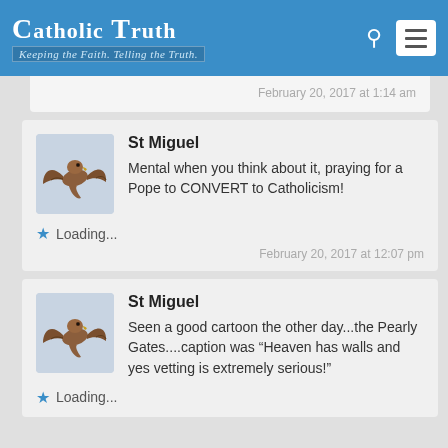Catholic Truth - Keeping the Faith. Telling the Truth.
February 20, 2017 at 1:14 am
St Miguel
Mental when you think about it, praying for a Pope to CONVERT to Catholicism!
Loading...
February 20, 2017 at 12:07 pm
St Miguel
Seen a good cartoon the other day...the Pearly Gates....caption was “Heaven has walls and yes vetting is extremely serious!”
Loading...